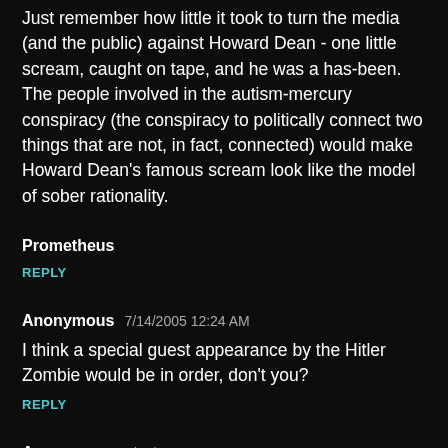Just remember how little it took to turn the media (and the public) against Howard Dean - one little scream, caught on tape, and he was a has-been. The people involved in the autism-mercury conspiracy (the conspiracy to politically connect two things that are not, in fact, connected) would make Howard Dean's famous scream look like the model of sober rationality.
Prometheus
REPLY
Anonymous  7/14/2005 12:24 AM
I think a special guest appearance by the Hitler Zombie would be in order, don't you?
REPLY
Anonymous  7/14/2005 12:39 AM
But the question is, are these the Scientology